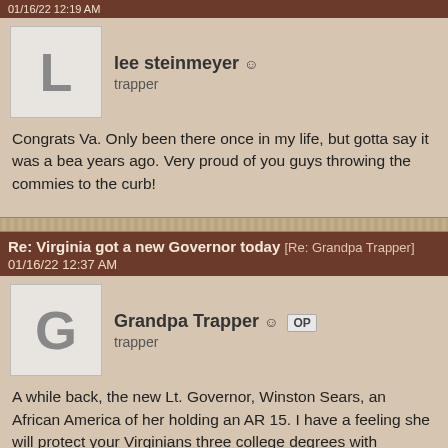01/16/22 12:19 AM
lee steinmeyer ☺
trapper
Congrats Va. Only been there once in my life, but gotta say it was a bea years ago. Very proud of you guys throwing the commies to the curb!
Re: Virginia got a new Governor today [Re: Grandpa Trapper]
01/16/22 12:37 AM
Grandpa Trapper ☺ OP
trapper
A while back, the new Lt. Governor, Winston Sears, an African America of her holding an AR 15. I have a feeling she will protect your Virginians three college degrees with conservative views. She is also a Marine ve
Last edited by Grandpa Trapper; 01/16/22 03:56 PM.